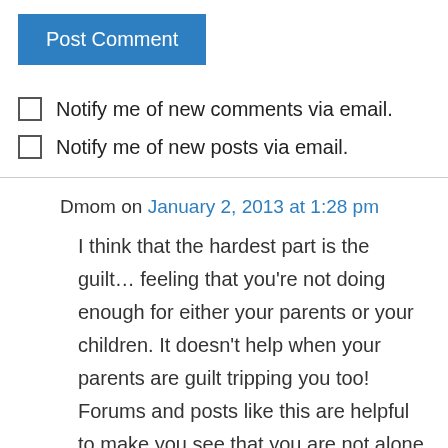[Figure (other): Blue 'Post Comment' button]
Notify me of new comments via email.
Notify me of new posts via email.
Dmom on January 2, 2013 at 1:28 pm
I think that the hardest part is the guilt… feeling that you're not doing enough for either your parents or your children. It doesn't help when your parents are guilt tripping you too! Forums and posts like this are helpful to make you see that you are not alone in going through this, and that you also have to think of your own self care, or else you'll be useless to those you care for.